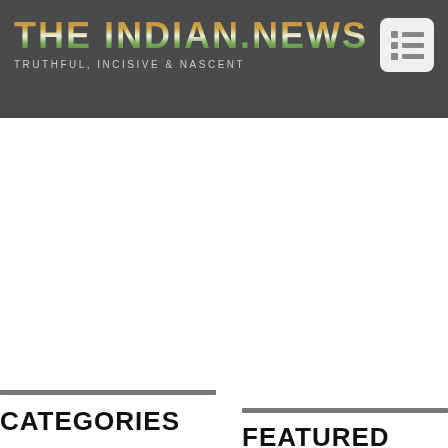THE INDIAN.NEWS — TRUTHFUL, INCISIVE & NASCENT
[Figure (logo): Menu/hamburger icon button (list icon) in top right of header]
CATEGORIES
FEATURED